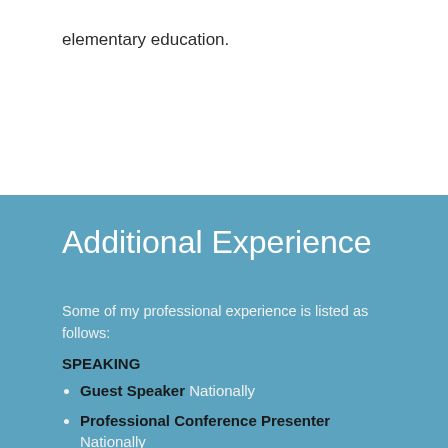elementary education.
Additional Experience
Some of my professional experience is listed as follows:
SPEAKING
Guest Speaker Nationally
Professional Conference Presenter Nationally
Workshop Presenter on a variety of topics for